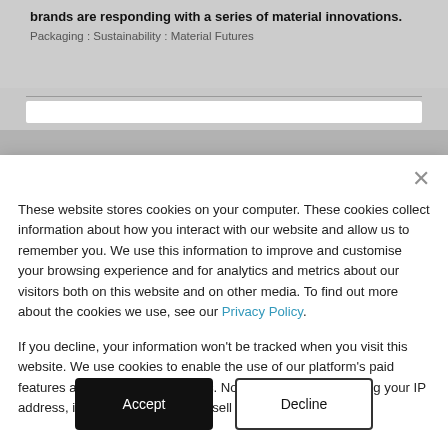brands are responding with a series of material innovations.
Packaging : Sustainability : Material Futures
These website stores cookies on your computer. These cookies collect information about how you interact with our website and allow us to remember you. We use this information to improve and customise your browsing experience and for analytics and metrics about our visitors both on this website and on other media. To find out more about the cookies we use, see our Privacy Policy.
If you decline, your information won't be tracked when you visit this website. We use cookies to enable the use of our platform's paid features and to analyse our traffic. No personal data, including your IP address, is stored and we do not sell data to third parties.